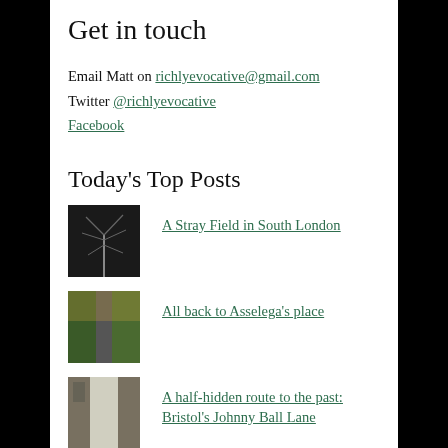Get in touch
Email Matt on richlyevocative@gmail.com
Twitter @richlyevocative
Facebook
Today's Top Posts
A Stray Field in South London
All back to Asselega's place
A half-hidden route to the past: Bristol's Johnny Ball Lane
Wandling Free?
I owe my life to a second-hand